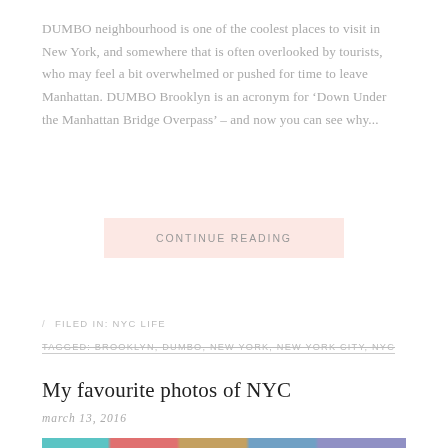DUMBO neighbourhood is one of the coolest places to visit in New York, and somewhere that is often overlooked by tourists, who may feel a bit overwhelmed or pushed for time to leave Manhattan. DUMBO Brooklyn is an acronym for ‘Down Under the Manhattan Bridge Overpass’ – and now you can see why...
CONTINUE READING
/ FILED IN: NYC LIFE
TAGGED: BROOKLYN, DUMBO, NEW YORK, NEW YORK CITY, NYC
My favourite photos of NYC
march 13, 2016
[Figure (photo): Partial image strip visible at bottom of page showing colored photo thumbnails]